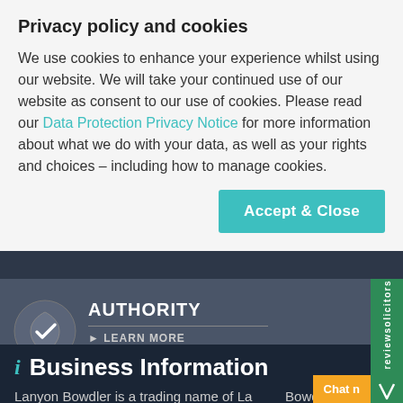Privacy policy and cookies
We use cookies to enhance your experience whilst using our website. We will take your continued use of our website as consent to our use of cookies. Please read our Data Protection Privacy Notice for more information about what we do with your data, as well as your rights and choices – including how to manage cookies.
Accept & Close
[Figure (logo): Circular shield/checkmark icon on dark grey background]
AUTHORITY
▶ LEARN MORE
3 SEP 2022
i Business Information
Lanyon Bowdler is a trading name of Lanyon Bowdler LLP which is a limited liability